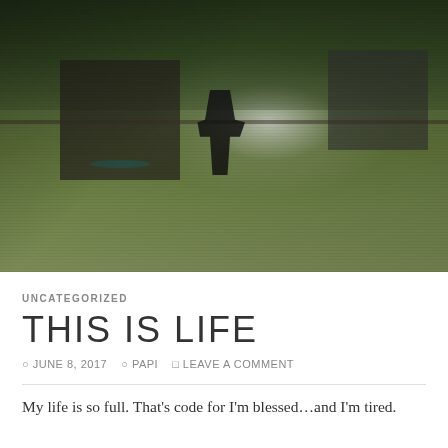[Figure (photo): Outdoor backyard scene with a person in dark clothing appearing to run or jump on a green lawn, with trees forming a canopy overhead and a building/garage structure visible in the background. Bright light visible in the mid-ground. Photo has a slightly desaturated, overcast appearance.]
UNCATEGORIZED
THIS IS LIFE
JUNE 8, 2017  PAPI  LEAVE A COMMENT
My life is so full. That's code for I'm blessed...and I'm tired.